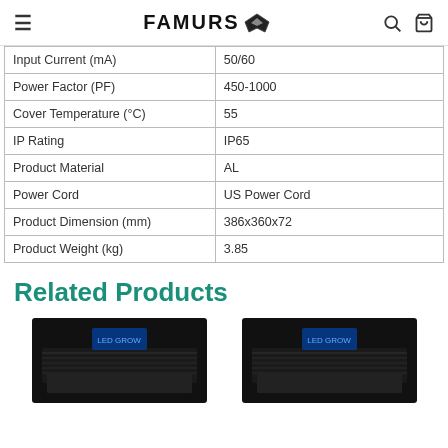≡  FAMURS 🦅  🔍  🛍
| Property | Value |
| --- | --- |
| Input Current (mA) | 50/60 |
| Power Factor (PF) | 450-1000 |
| Cover Temperature (°C) | 55 |
| IP Rating | IP65 |
| Product Material | AL |
| Power Cord | US Power Cord |
| Product Dimension (mm) | 386x360x72 |
| Product Weight (kg) | 3.85 |
Related Products
[Figure (photo): Two LED grow light products shown as related products]